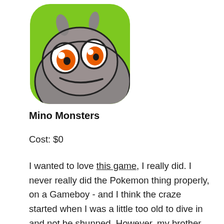[Figure (illustration): App icon for Mino Monsters: a cartoon grey creature with large orange eyes on a bright green background with rounded corners]
Mino Monsters
Cost: $0
I wanted to love this game, I really did. I never really did the Pokemon thing properly, on a Gameboy - and I think the craze started when I was a little too old to dive in and not be shunned. However, my brother having no such concerns about shunnage did play several of the early